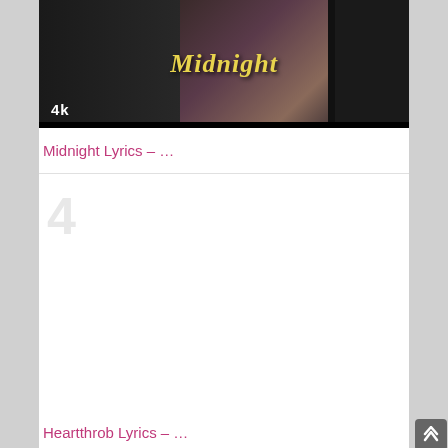[Figure (photo): Midnight music video thumbnail showing a couple in the center with yellow/gold italic text reading 'Midnight', a '4k' badge at the bottom-left, dark/monochrome figures on the sides, and a black bar at the bottom.]
Midnight Lyrics – …
[Figure (other): Card section with a large light gray number '4' watermark in the top-left area, mostly white/blank content area below.]
Heartthrob Lyrics – …